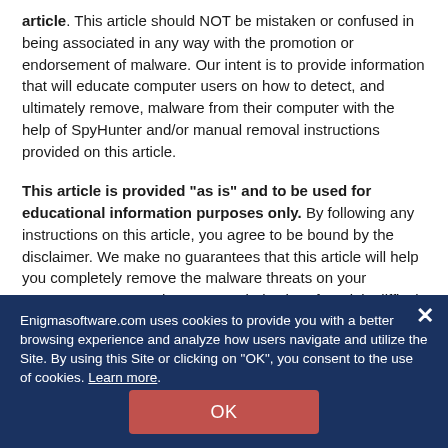article. This article should NOT be mistaken or confused in being associated in any way with the promotion or endorsement of malware. Our intent is to provide information that will educate computer users on how to detect, and ultimately remove, malware from their computer with the help of SpyHunter and/or manual removal instructions provided on this article.
This article is provided "as is" and to be used for educational information purposes only. By following any instructions on this article, you agree to be bound by the disclaimer. We make no guarantees that this article will help you completely remove the malware threats on your computer. Spyware changes regularly; therefore, it is difficult to fully clean an infected machine through manual means.
Enigmasoftware.com uses cookies to provide you with a better browsing experience and analyze how users navigate and utilize the Site. By using this Site or clicking on "OK", you consent to the use of cookies. Learn more.